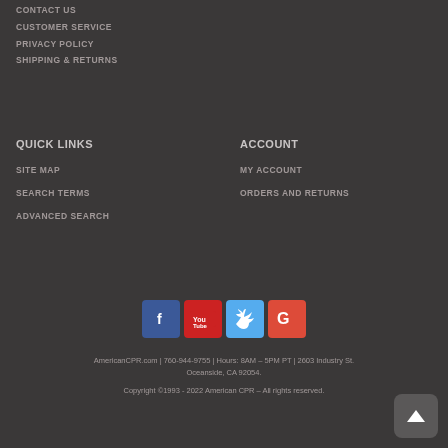CONTACT US
CUSTOMER SERVICE
PRIVACY POLICY
SHIPPING & RETURNS
QUICK LINKS
SITE MAP
SEARCH TERMS
ADVANCED SEARCH
ACCOUNT
MY ACCOUNT
ORDERS AND RETURNS
[Figure (infographic): Social media icons: Facebook (blue), YouTube (red), Twitter (light blue), Google (red-orange)]
AmericanCPR.com | 760-944-9755 | Hours: 8AM – 5PM PT | 2603 Industry St. Oceanside, CA 92054
Copyright ©1993 - 2022 American CPR – All rights reserved.